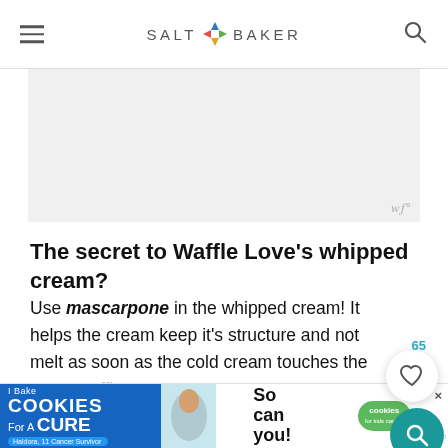SALT & BAKER
[Figure (other): Gray advertisement banner placeholder with watermark symbol in bottom-right corner]
The secret to Waffle Love's whipped cream?
Use mascarpone in the whipped cream! It helps the cream keep it's structure and not melt as soon as the cold cream touches the warm wa…
Top the waffles with Nutella, cookie butter, lemon curd, or whipped cream! However you ch…
[Figure (other): Bottom advertisement banner for 'I Bake Cookies For A Cure' featuring Haldora, 11 Cancer Survivor, with green cookies badge and 'So can you!' text]